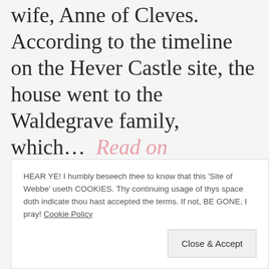wife, Anne of Cleves. According to the timeline on the Hever Castle site, the house went to the Waldegrave family, which… Read on
SCRIBED ON SAT 23RD FEB 2013 A.D. | 13,555 VIEWS THUS FAR | COMMENT
HEAR YE! I humbly beseech thee to know that this 'Site of Webbe' useth COOKIES. Thy continuing usage of thys space doth indicate thou hast accepted the terms. If not, BE GONE, I pray! Cookie Policy